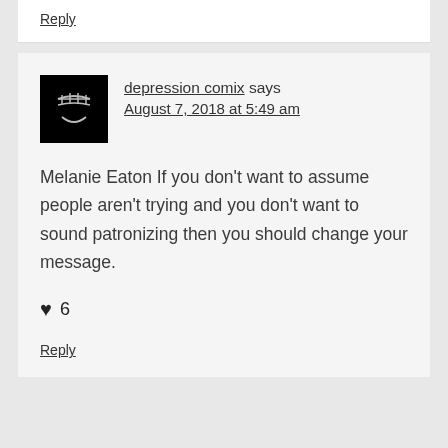Reply
[Figure (illustration): Black square avatar with a stylized face logo (depression comix brand icon) showing angular smile lines on dark background]
depression comix says August 7, 2018 at 5:49 am
Melanie Eaton If you don't want to assume people aren't trying and you don't want to sound patronizing then you should change your message.
♥ 6
Reply